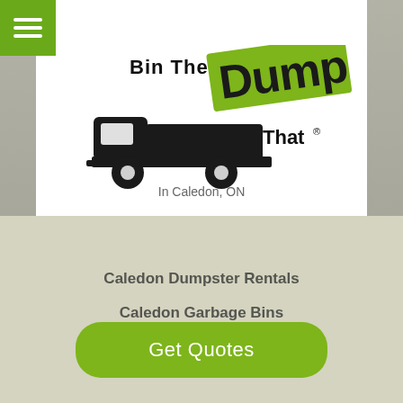[Figure (logo): Bin There Dump That logo: black dump truck silhouette with green tilted rectangle banner reading 'Dump' in black bold font. Text 'Bin There' in black and 'That®' in black. Below: 'Mini Disposal & Environmental Services' in green italic bold. Green hamburger menu icon top-left on green square.]
In Caledon, ON
Caledon Dumpster Rentals
Caledon Garbage Bins
Caledon Roll Off Containers
Get Quotes